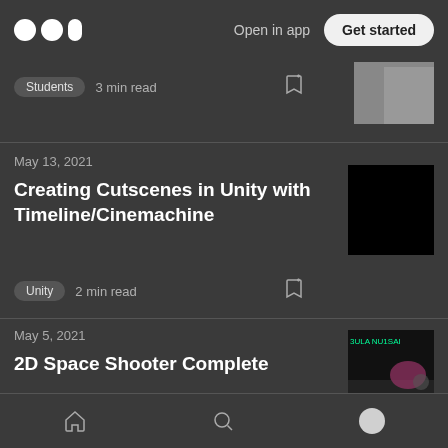Medium — Open in app  Get started
Students  3 min read
May 13, 2021
Creating Cutscenes in Unity with Timeline/Cinemachine
Unity  2 min read
May 5, 2021
2D Space Shooter Complete
Unity  2 min read
Home  Search  Profile